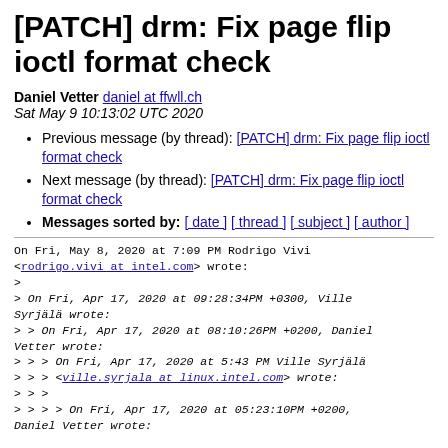[PATCH] drm: Fix page flip ioctl format check
Daniel Vetter daniel at ffwll.ch
Sat May 9 10:13:02 UTC 2020
Previous message (by thread): [PATCH] drm: Fix page flip ioctl format check
Next message (by thread): [PATCH] drm: Fix page flip ioctl format check
Messages sorted by: [ date ] [ thread ] [ subject ] [ author ]
On Fri, May 8, 2020 at 7:09 PM Rodrigo Vivi <rodrigo.vivi at intel.com> wrote:
>
> On Fri, Apr 17, 2020 at 09:28:34PM +0300, Ville Syrjälä wrote:
> > On Fri, Apr 17, 2020 at 08:10:26PM +0200, Daniel Vetter wrote:
> > > On Fri, Apr 17, 2020 at 5:43 PM Ville Syrjälä
> > > <ville.syrjala at linux.intel.com> wrote:
> > >
> > > > On Fri, Apr 17, 2020 at 05:23:10PM +0200, Daniel Vetter wrote: